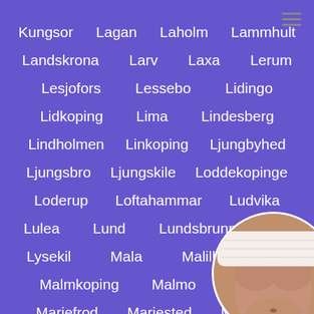Kungsor
Lagan
Laholm
Lammhult
Landskrona
Larv
Laxa
Lerum
Lesjofors
Lessebo
Lidingo
Lidkoping
Lima
Lindesberg
Lindholmen
Linkoping
Ljungbyhed
Ljungsbro
Ljungskile
Loddekopinge
Loderup
Loftahammar
Ludvika
Lulea
Lund
Lundsbrunn
L...
Lysekil
Mala
Malilla
M...
Malmkoping
Malmo
Marg...
Mariefrod
Mariested
Markand
[Figure (photo): Circular image overlay on the bottom-right showing a person's torso]